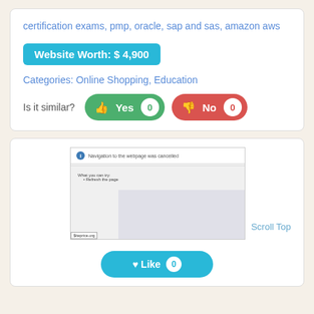certification exams, pmp, oracle, sap and sas, amazon aws
Website Worth: $ 4,900
Categories: Online Shopping, Education
Is it similar? Yes 0 No 0
[Figure (screenshot): Screenshot of a browser page showing 'Navigation to the webpage was cancelled' error with a $iteprice.org watermark]
Scroll Top
Like 0